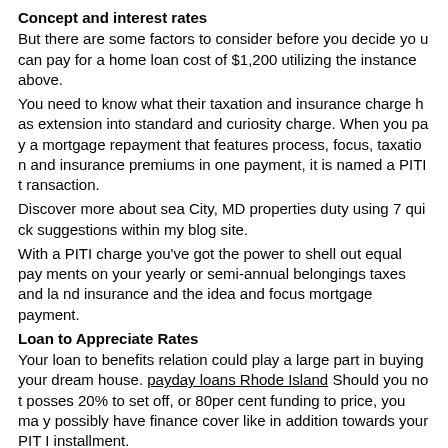Concept and interest rates
But there are some factors to consider before you decide you can pay for a home loan cost of $1,200 utilizing the instance above.
You need to know what their taxation and insurance charge has extension into standard and curiosity charge. When you pay a mortgage repayment that features process, focus, taxation and insurance premiums in one payment, it is named a PITI transaction.
Discover more about sea City, MD properties duty using 7 quick suggestions within my blog site.
With a PITI charge you’ve got the power to shell out equal payments on your yearly or semi-annual belongings taxes and land insurance and the idea and focus mortgage payment.
Loan to Appreciate Rates
Your loan to benefits relation could play a large part in buying your dream house. payday loans Rhode Island Should you not posses 20% to set off, or 80per cent funding to price, you may possibly have finance cover like in addition towards your PITI installment.
Get believe that your own every month duty, home insurance and loan insurance premiums paying is definitely $300 monthly.